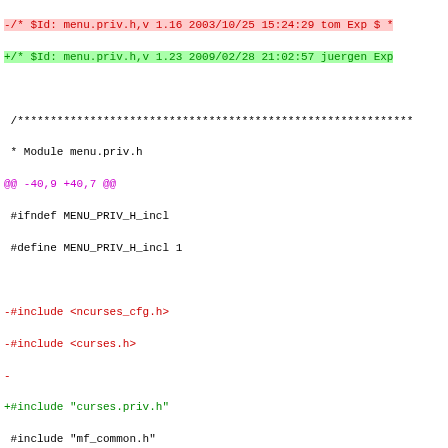-/* $Id: menu.priv.h,v 1.16 2003/10/25 15:24:29 tom Exp $ *
+/* $Id: menu.priv.h,v 1.23 2009/02/28 21:02:57 juergen Exp
/************************************************************
* Module menu.priv.h
@@ -40,9 +40,7 @@
#ifndef MENU_PRIV_H_incl
 #define MENU_PRIV_H_incl 1
-#include <ncurses_cfg.h>
-#include <curses.h>
-
+#include "curses.priv.h"
 #include "mf_common.h"
 #include "menu.h"
@@ -58,8 +56,12 @@ extern NCURSES_EXPORT_VAR(MENU) _nc_Defau
/* Normalize menu to default if none was given */
 #define Normalize_Menu( menu ) ((menu)=(menu)?(menu):&_nc_D
+#define Get_Menu_Screen( menu ) (menu->userwin ? \
+                                    _nc_screen_of(menu->userwin
+
/* Get the user defined (framing) window of the menu */
-#define Get_Menu_UserWin(menu) ((menu)->userwin ? (menu)->u
+#define Get_Menu_UserWin(menu) ((menu)->userwin ? \
+    (menu)->userwin : CURRENT_SCREEN->_stdscr)
/* Normalize menu window */
 #define Get_Menu_Window(  menu ) \
@@ -108,10 +110,13 @@ extern NCURSES_EXPORT_VAR(MENU) _nc_De
{ (menu)->pindex = 0; \